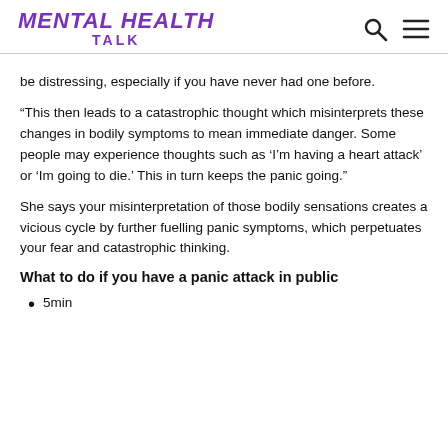MENTAL HEALTH TALK
be distressing, especially if you have never had one before.
“This then leads to a catastrophic thought which misinterprets these changes in bodily symptoms to mean immediate danger. Some people may experience thoughts such as ‘I’m having a heart attack’ or ‘Im going to die.’ This in turn keeps the panic going.”
She says your misinterpretation of those bodily sensations creates a vicious cycle by further fuelling panic symptoms, which perpetuates your fear and catastrophic thinking.
What to do if you have a panic attack in public
5min